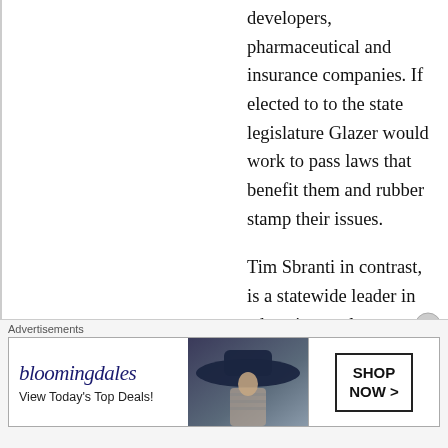developers, pharmaceutical and insurance companies. If elected to to the state legislature Glazer would work to pass laws that benefit them and rubber stamp their issues.

Tim Sbranti in contrast, is a statewide leader in education, a classroom teacher and effective local leader. Under his fiscal leadership he transformed Dublin from a city suffering from serious budget deficits into a city with a budget surplus, without sacrificing major
[Figure (other): Bloomingdale's advertisement banner with logo, tagline 'View Today's Top Deals!', model image wearing a large hat, and SHOP NOW > button]